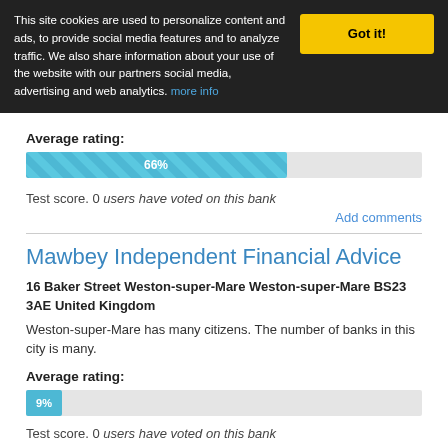This site cookies are used to personalize content and ads, to provide social media features and to analyze traffic. We also share information about your use of the website with our partners social media, advertising and web analytics. more info
Average rating:
[Figure (bar-chart): Average rating bar]
Test score. 0 users have voted on this bank
Add comments
Mawbey Independent Financial Advice
16 Baker Street Weston-super-Mare Weston-super-Mare BS23 3AE United Kingdom
Weston-super-Mare has many citizens. The number of banks in this city is many.
Average rating:
[Figure (bar-chart): Average rating bar]
Test score. 0 users have voted on this bank